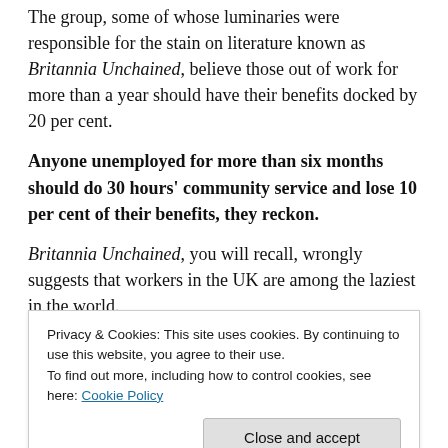The group, some of whose luminaries were responsible for the stain on literature known as Britannia Unchained, believe those out of work for more than a year should have their benefits docked by 20 per cent.
Anyone unemployed for more than six months should do 30 hours' community service and lose 10 per cent of their benefits, they reckon.
Britannia Unchained, you will recall, wrongly suggests that workers in the UK are among the laziest in the world.
Privacy & Cookies: This site uses cookies. By continuing to use this website, you agree to their use. To find out more, including how to control cookies, see here: Cookie Policy
comparisons by limiting their suggestion to 30 hours,